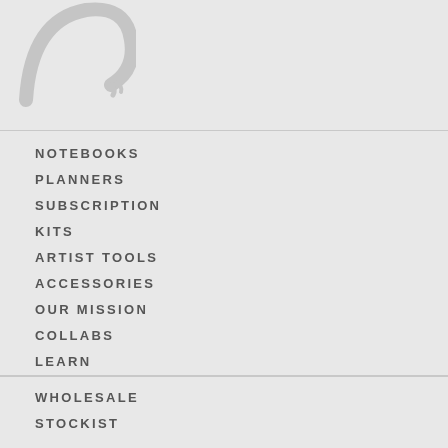[Figure (logo): Partial circular logo/brand mark in light gray at top left]
NOTEBOOKS
PLANNERS
SUBSCRIPTION
KITS
ARTIST TOOLS
ACCESSORIES
OUR MISSION
COLLABS
LEARN
WHOLESALE
STOCKIST